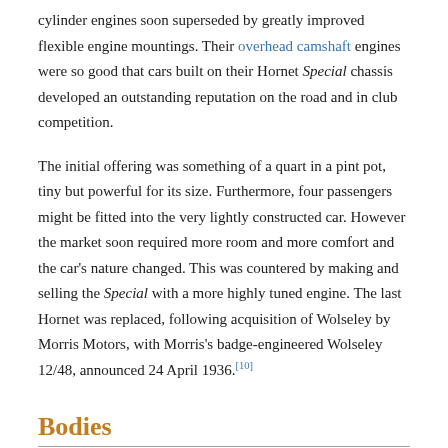cylinder engines soon superseded by greatly improved flexible engine mountings. Their overhead camshaft engines were so good that cars built on their Hornet Special chassis developed an outstanding reputation on the road and in club competition.
The initial offering was something of a quart in a pint pot, tiny but powerful for its size. Furthermore, four passengers might be fitted into the very lightly constructed car. However the market soon required more room and more comfort and the car's nature changed. This was countered by making and selling the Special with a more highly tuned engine. The last Hornet was replaced, following acquisition of Wolseley by Morris Motors, with Morris's badge-engineered Wolseley 12/48, announced 24 April 1936.[10]
Bodies
1930
Initial offering